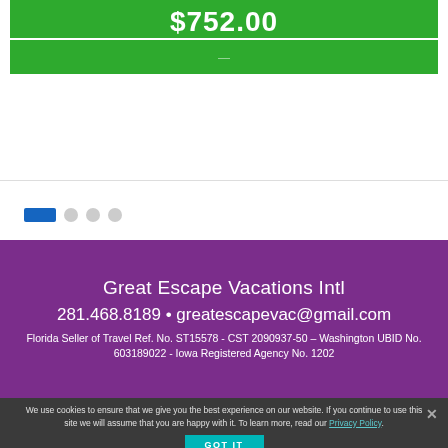$752.00
—
[Figure (other): Pagination indicator with one blue active rectangle and three grey circle dots]
Great Escape Vacations Intl
281.468.8189 • greatescapevac@gmail.com
Florida Seller of Travel Ref. No. ST15578 - CST 2090937-50 – Washington UBID No. 603189022 - Iowa Registered Agency No. 1202
We use cookies to ensure that we give you the best experience on our website. If you continue to use this site we will assume that you are happy with it. To learn more, read our Privacy Policy.
GOT IT